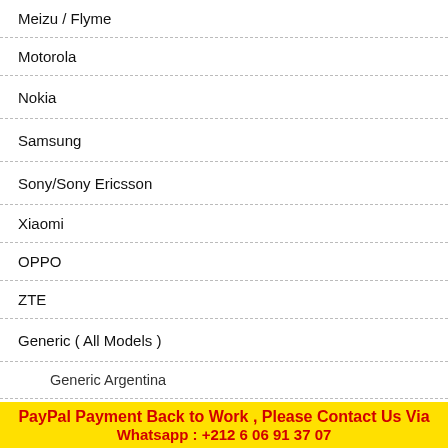Meizu / Flyme
Motorola
Nokia
Samsung
Sony/Sony Ericsson
Xiaomi
OPPO
ZTE
Generic ( All Models )
Generic Argentina
Generic Australia
Generic Austria
Generic Brasil
Generic Canada
Generic Denmark
Generic Eslovenia
Compare
Orange R... Out...
Delivery tim...
Vodafone
Delivery Ti...
PayPal Payment Back to Work , Please Contact Us Via Whatsapp : +212 6 06 91 37 07